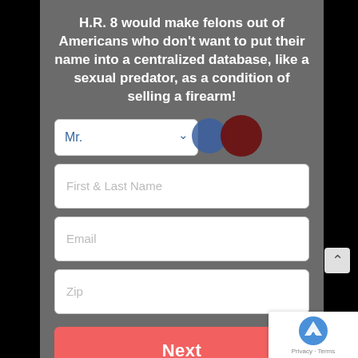H.R. 8 would make felons out of Americans who don't want to put their name into a centralized database, like a sexual predator, as a condition of selling a firearm!
[Figure (screenshot): Web form with dropdown for title (Mr.), and input fields for First & Last Name, Email, and Zip, plus a Next button. Two overlapping circles (blue and dark red) appear near the dropdown. A reCAPTCHA badge is in the bottom-right corner.]